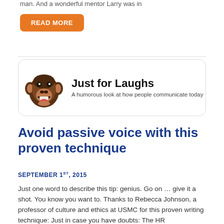man. And a wonderful mentor Larry was in
[Figure (other): Orange rounded rectangle button with white bold text: READ MORE]
[Figure (illustration): Rounded box banner with a laughing chimpanzee photo on the left, title 'Just for Laughs' in bold black, subtitle 'A humorous look at how people communicate today']
Avoid passive voice with this proven technique
SEPTEMBER 1ST, 2015
Just one word to describe this tip: genius. Go on … give it a shot. You know you want to. Thanks to Rebecca Johnson, a professor of culture and ethics at USMC for this proven writing technique: Just in case you have doubts: The HR